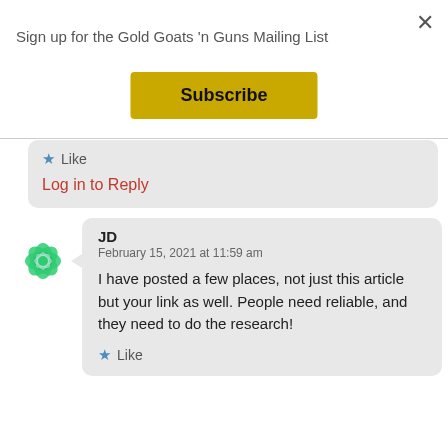Sign up for the Gold Goats 'n Guns Mailing List
Subscribe
★ Like
Log in to Reply
[Figure (illustration): Green decorative circular avatar icon with interlocking petal/leaf pattern]
JD
February 15, 2021 at 11:59 am
I have posted a few places, not just this article but your link as well. People need reliable, and they need to do the research!
★ Like